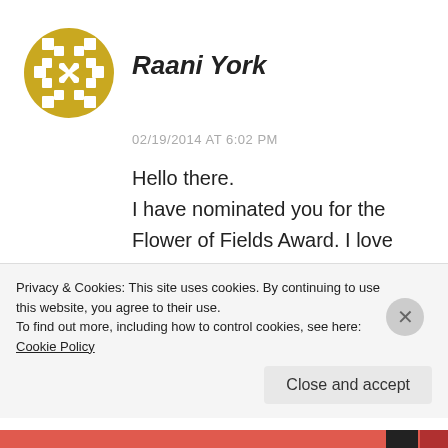[Figure (illustration): Golden circular decorative avatar/logo with geometric lattice pattern on white background]
Raani York
02/19/2014 AT 6:02 PM
Hello there.
I have nominated you for the Flower of Fields Award. I love this blog and I hope you will enjoy accepting the Award and passing it on.
You deserve it!
http://raaniyork.wordpress.com/2014/02/19/t
Privacy & Cookies: This site uses cookies. By continuing to use this website, you agree to their use.
To find out more, including how to control cookies, see here: Cookie Policy
Close and accept